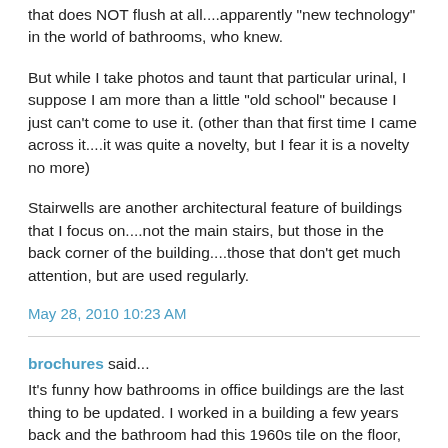that does NOT flush at all....apparently "new technology" in the world of bathrooms, who knew.
But while I take photos and taunt that particular urinal, I suppose I am more than a little "old school" because I just can't come to use it. (other than that first time I came across it....it was quite a novelty, but I fear it is a novelty no more)
Stairwells are another architectural feature of buildings that I focus on....not the main stairs, but those in the back corner of the building....those that don't get much attention, but are used regularly.
May 28, 2010 10:23 AM
brochures said...
It's funny how bathrooms in office buildings are the last thing to be updated. I worked in a building a few years back and the bathroom had this 1960s tile on the floor,